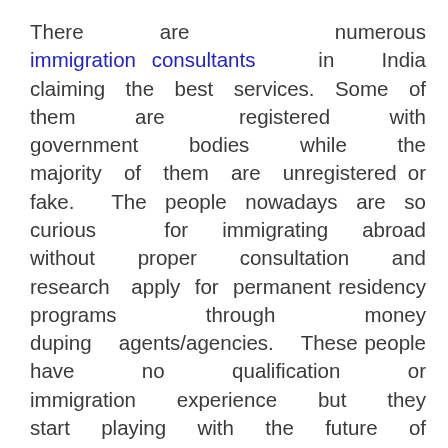There are numerous immigration consultants in India claiming the best services. Some of them are registered with government bodies while the majority of them are unregistered or fake. The people nowadays are so curious for immigrating abroad without proper consultation and research apply for permanent residency programs through money duping agents/agencies. These people have no qualification or immigration experience but they start playing with the future of innocent people. Henceforth, it is extremely important at your part to select the right and honest visa and immigration consultant who is genuinely working towards fulfilling